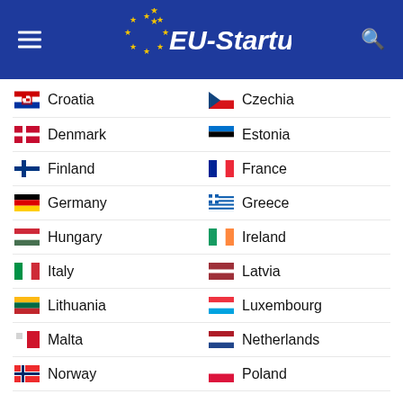EU-Startups
Croatia
Czechia
Denmark
Estonia
Finland
France
Germany
Greece
Hungary
Ireland
Italy
Latvia
Lithuania
Luxembourg
Malta
Netherlands
Norway
Poland